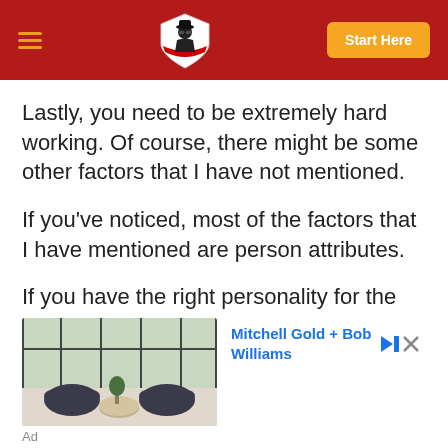Start Here
Lastly, you need to be extremely hard working. Of course, there might be some other factors that I have not mentioned.
If you've noticed, most of the factors that I have mentioned are person attributes.
If you have the right personality for the business, you will attract the right mentor to
[Figure (photo): Advertisement photo showing modern furniture: dark armchairs around a round coffee table in a bright room with large windows. Ad brand: Mitchell Gold + Bob Williams]
Ad